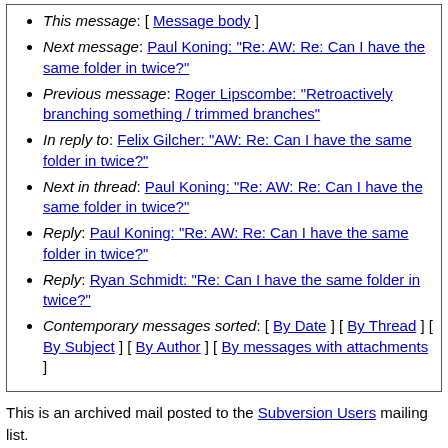This message: [ Message body ]
Next message: Paul Koning: "Re: AW: Re: Can I have the same folder in twice?"
Previous message: Roger Lipscombe: "Retroactively branching something / trimmed branches"
In reply to: Felix Gilcher: "AW: Re: Can I have the same folder in twice?"
Next in thread: Paul Koning: "Re: AW: Re: Can I have the same folder in twice?"
Reply: Paul Koning: "Re: AW: Re: Can I have the same folder in twice?"
Reply: Ryan Schmidt: "Re: Can I have the same folder in twice?"
Contemporary messages sorted: [ By Date ] [ By Thread ] [ By Subject ] [ By Author ] [ By messages with attachments ]
This is an archived mail posted to the Subversion Users mailing list.
This site is subject to the Apache Privacy Policy and the Apache Public Forum Archive Policy.